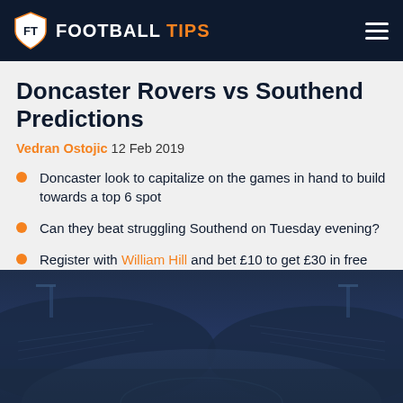FOOTBALL TIPS
Doncaster Rovers vs Southend Predictions
Vedran Ostojic 12 Feb 2019
Doncaster look to capitalize on the games in hand to build towards a top 6 spot
Can they beat struggling Southend on Tuesday evening?
Register with William Hill and bet £10 to get £30 in free bets!
[Figure (photo): Stadium background image with dark blue overlay, showing a football stadium at night]